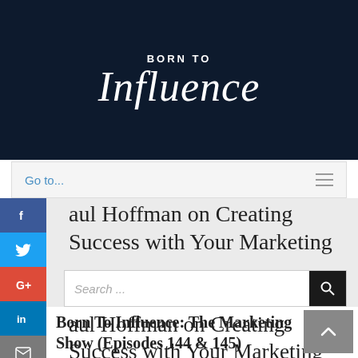Born To Influence
Go to...
Paul Hoffman on Creating Success with Your Marketing
Search ...
Paul Hoffman on Creating Success with Your Marketing
Born To Influence: The Marketing Show (Episodes 144 & 145)